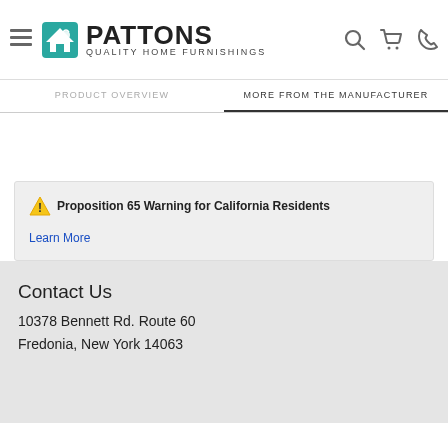PATTONS QUALITY HOME FURNISHINGS
PRODUCT OVERVIEW | MORE FROM THE MANUFACTURER
⚠ Proposition 65 Warning for California Residents
Learn More
Contact Us
10378 Bennett Rd. Route 60
Fredonia, New York 14063